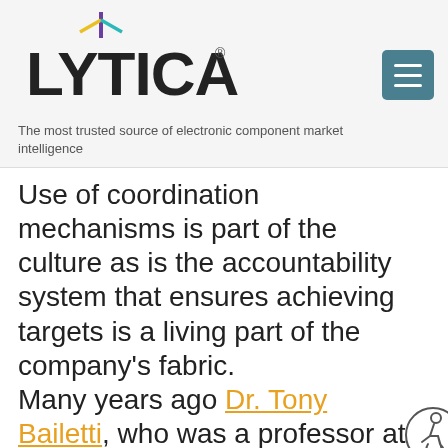Lytica — The most trusted source of electronic component market intelligence
Use of coordination mechanisms is part of the culture as is the accountability system that ensures achieving targets is a living part of the company's fabric. Many years ago Dr. Tony Bailetti, who was a professor at Carleton University and became director of their Technology Innovation Management (TIM) program,